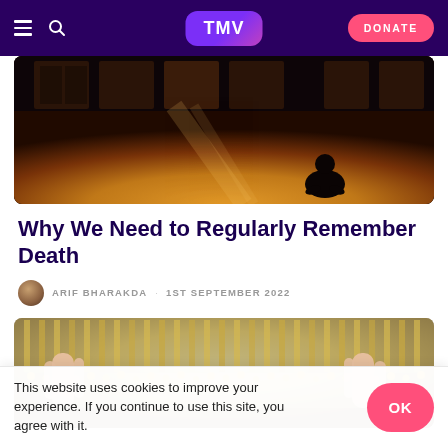TMV — DONATE
[Figure (photo): A person sitting/praying on a wooden floor in a dimly lit room with large windows, dramatic light streaming in.]
Why We Need to Regularly Remember Death
ARIF BHARAKDA · 1ST SEPTEMBER 2022
[Figure (photo): Hands raised in prayer (du'a) in front of the illuminated Kaaba in Mecca, with golden lights in the background.]
This website uses cookies to improve your experience. If you continue to use this site, you agree with it.